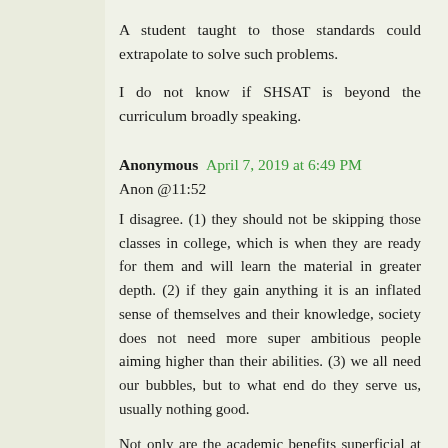A student taught to those standards could extrapolate to solve such problems.
I do not know if SHSAT is beyond the curriculum broadly speaking.
Anonymous April 7, 2019 at 6:49 PM
Anon @11:52
I disagree. (1) they should not be skipping those classes in college, which is when they are ready for them and will learn the material in greater depth. (2) if they gain anything it is an inflated sense of themselves and their knowledge, society does not need more super ambitious people aiming higher than their abilities. (3) we all need our bubbles, but to what end do they serve us, usually nothing good.
Not only are the academic benefits superficial at best, but society pays a price for encouraging such heroes